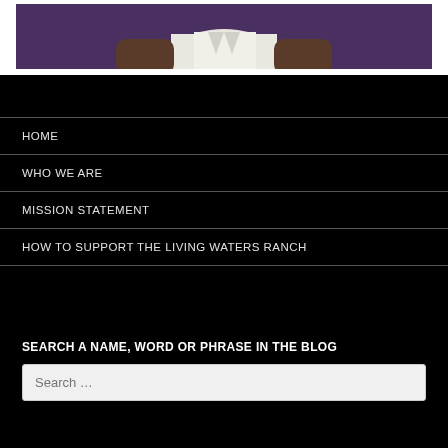[Figure (photo): Partial photo of a person in a white shirt against a purple background, cropped at the top of the page]
HOME
WHO WE ARE
MISSION STATEMENT
HOW TO SUPPORT THE LIVING WATERS RANCH
SEARCH A NAME, WORD OR PHRASE IN THE BLOG
Search …